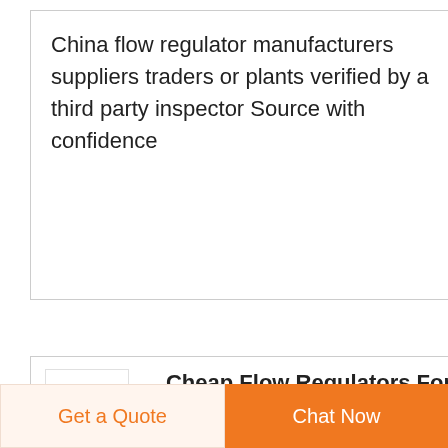China flow regulator manufacturers suppliers traders or plants verified by a third party inspector Source with confidence
[Figure (logo): Small blue logo icon for a product listing]
Cheap Flow Regulators For Sale2021 Best Flow Regulators
Find 2021 quality cheap flow regulators for sale You can get inexpensive flow regulators with discounted price from the most reputable wholesalers
[Figure (other): Dark blue circular button with upward arrow (scroll to top)]
Get a Quote
Chat Now